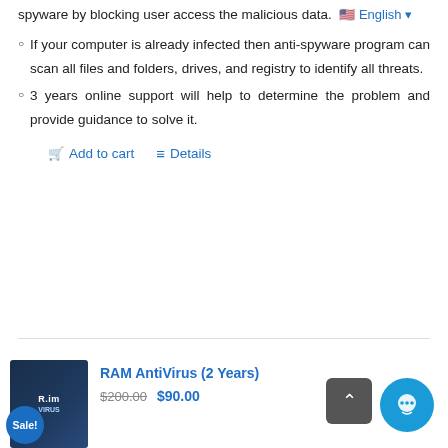spyware by blocking user access the malicious data. 🇺🇸 English ▾
If your computer is already infected then anti-spyware program can scan all files and folders, drives, and registry to identify all threats.
3 years online support will help to determine the problem and provide guidance to solve it.
Add to cart   Details
RAM AntiVirus (2 Years)
$200.00  $90.00